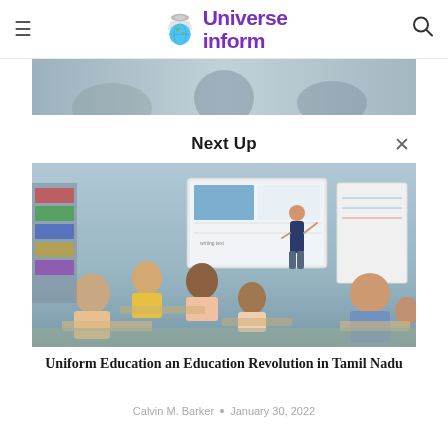Universe inform
[Figure (photo): Top portion of an article image showing people in an educational/office setting, partially cropped]
Next Up
[Figure (photo): Classroom scene with children seated at desks and a student presenting at an interactive whiteboard]
Uniform Education an Education Revolution in Tamil Nadu
Calvin M. Barker • January 30, 2022